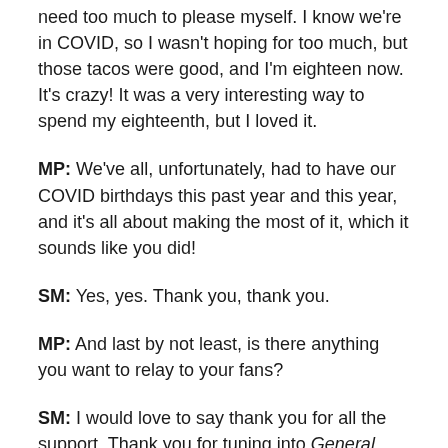need too much to please myself. I know we're in COVID, so I wasn't hoping for too much, but those tacos were good, and I'm eighteen now. It's crazy! It was a very interesting way to spend my eighteenth, but I loved it.
MP: We've all, unfortunately, had to have our COVID birthdays this past year and this year, and it's all about making the most of it, which it sounds like you did!
SM: Yes, yes. Thank you, thank you.
MP: And last by not least, is there anything you want to relay to your fans?
SM: I would love to say thank you for all the support. Thank you for tuning into General Hospital and Kipo and the Age of Wonderbeasts. I have some super cool